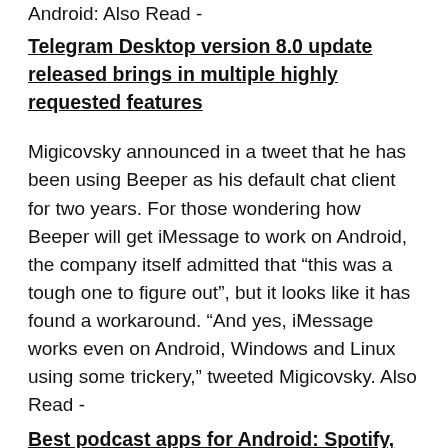Android: Also Read -
Telegram Desktop version 8.0 update released brings in multiple highly requested features
Migicovsky announced in a tweet that he has been using Beeper as his default chat client for two years. For those wondering how Beeper will get iMessage to work on Android, the company itself admitted that “this was a tough one to figure out”, but it looks like it has found a workaround. “And yes, iMessage works even on Android, Windows and Linux using some trickery,” tweeted Migicovsky. Also Read -
Best podcast apps for Android: Spotify, Google Podcasts, Khabri and more
The company is sending each user a jailbroken iPhone (yes, you heard it right!) with the Beeper app installed